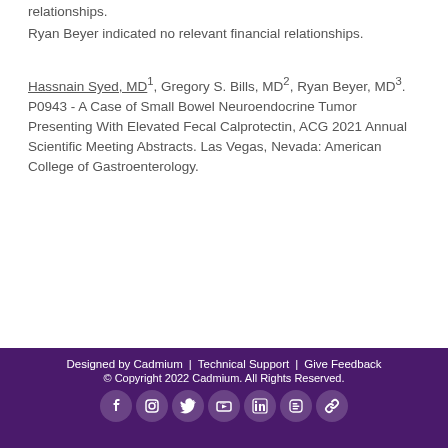relationships.
Ryan Beyer indicated no relevant financial relationships.
Hassnain Syed, MD1, Gregory S. Bills, MD2, Ryan Beyer, MD3. P0943 - A Case of Small Bowel Neuroendocrine Tumor Presenting With Elevated Fecal Calprotectin, ACG 2021 Annual Scientific Meeting Abstracts. Las Vegas, Nevada: American College of Gastroenterology.
Designed by Cadmium | Technical Support | Give Feedback
© Copyright 2022 Cadmium. All Rights Reserved.